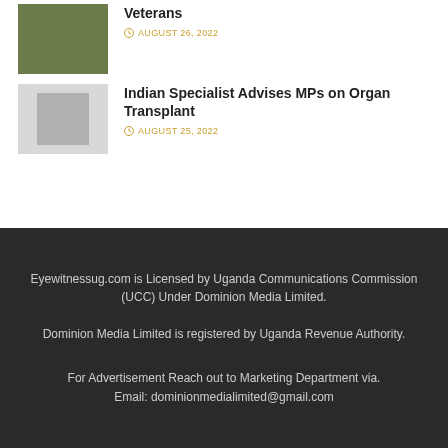Veterans
AUGUST 26, 2022
Indian Specialist Advises MPs on Organ Transplant
AUGUST 25, 2022
Eyewitnessug.com is Licensed by Uganda Communications Commission (UCC) Under Dominion Media Limited.

Dominion Media Limited is registered by Uganda Revenue Authority.

For Advertisement Reach out to Marketing Department via. Email: dominionmedialimited@gmail.com